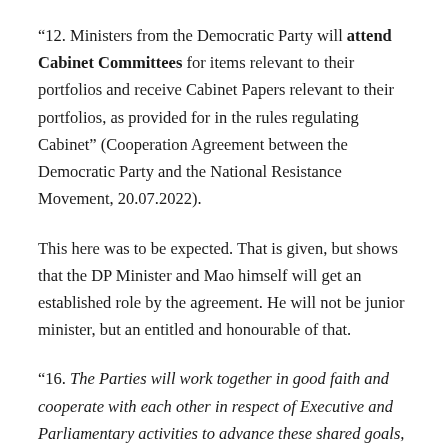“12. Ministers from the Democratic Party will attend Cabinet Committees for items relevant to their portfolios and receive Cabinet Papers relevant to their portfolios, as provided for in the rules regulating Cabinet” (Cooperation Agreement between the Democratic Party and the National Resistance Movement, 20.07.2022).
This here was to be expected. That is given, but shows that the DP Minister and Mao himself will get an established role by the agreement. He will not be junior minister, but an entitled and honourable of that.
“16. The Parties will work together in good faith and cooperate with each other in respect of Executive and Parliamentary activities to advance these shared goals,